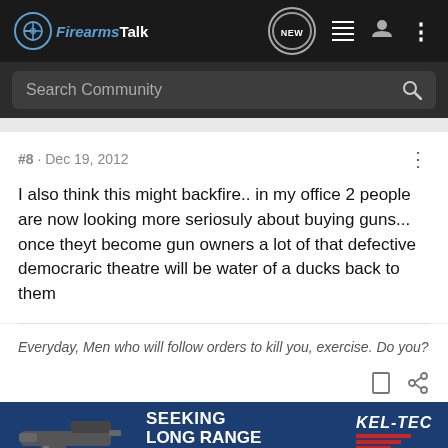FirearmsTalk
Search Community
#8 · Dec 19, 2012
I also think this might backfire.. in my office 2 people are now looking more seriosuly about buying guns... once theyt become gun owners a lot of that defective democraric theatre will be water of a ducks back to them
Everyday, Men who will follow orders to kill you, exercise. Do you?
[Figure (screenshot): Kel-Tec CP33 pistol advertisement banner: SEEKING LONG RANGE RELATIONSHIP with a pistol image]